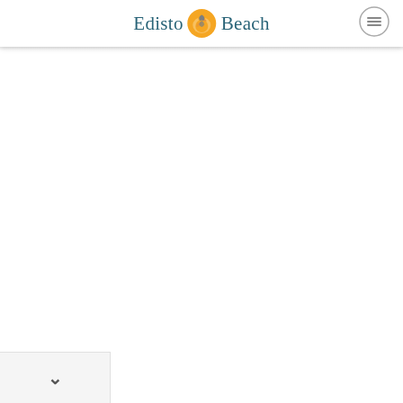Edisto Beach
[Figure (logo): Edisto Beach logo with pelican bird icon on an orange circle, flanked by teal text reading 'Edisto' on the left and 'Beach' on the right]
[Figure (other): Hamburger menu button (three horizontal lines in a circle outline) in top right corner]
v